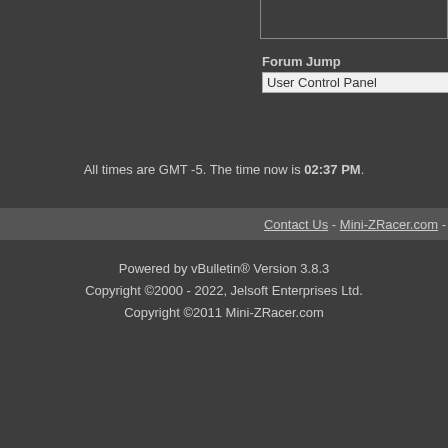Forum Jump
User Control Panel
All times are GMT -5. The time now is 02:37 PM.
Contact Us - Mini-ZRacer.com -
Powered by vBulletin® Version 3.8.3
Copyright ©2000 - 2022, Jelsoft Enterprises Ltd.
Copyright ©2011 Mini-ZRacer.com